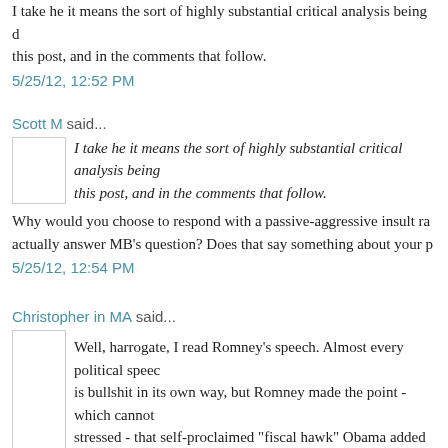I take he it means the sort of highly substantial critical analysis being done in this post, and in the comments that follow.
5/25/12, 12:52 PM
Scott M said...
I take he it means the sort of highly substantial critical analysis being done in this post, and in the comments that follow.
Why would you choose to respond with a passive-aggressive insult rather than actually answer MB's question? Does that say something about your p
5/25/12, 12:54 PM
Christopher in MA said...
Well, harrogate, I read Romney's speech. Almost every political speech is bullshit in its own way, but Romney made the point - which cannot be stressed - that self-proclaimed "fiscal hawk" Obama added five trillion to the debt in between bites of barbecued bulldog.
So is that what you define as bullshit?